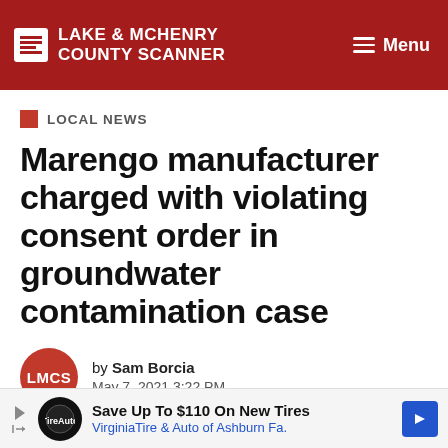LAKE & MCHENRY COUNTY SCANNER
LOCAL NEWS
Marengo manufacturer charged with violating consent order in groundwater contamination case
by Sam Borcia
May 7, 2021 3:22 PM
[Figure (other): Advertisement banner: Save Up To $110 On New Tires - VirginiaTire & Auto of Ashburn Fa.]